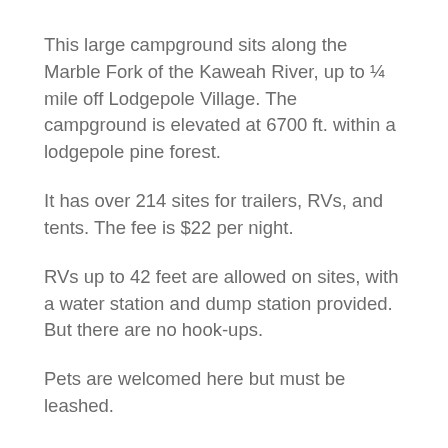This large campground sits along the Marble Fork of the Kaweah River, up to ¼ mile off Lodgepole Village. The campground is elevated at 6700 ft. within a lodgepole pine forest.
It has over 214 sites for trailers, RVs, and tents. The fee is $22 per night.
RVs up to 42 feet are allowed on sites, with a water station and dump station provided. But there are no hook-ups.
Pets are welcomed here but must be leashed.